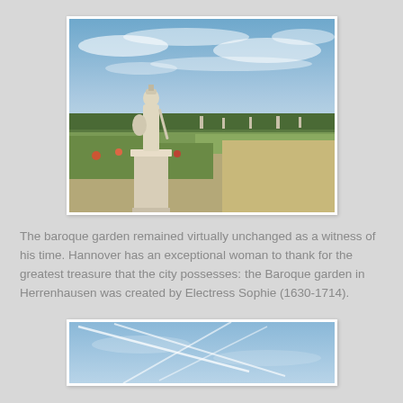[Figure (photo): A baroque garden scene with a white classical statue of a warrior figure on a pedestal in the foreground, with formal garden paths, hedges, and other statues stretching into the distance under a blue sky with clouds.]
The baroque garden remained virtually unchanged as a witness of his time. Hannover has an exceptional woman to thank for the greatest treasure that the city possesses: the Baroque garden in Herrenhausen was created by Electress Sophie (1630-1714).
[Figure (photo): A partial view of a blue sky with white contrail streaks crossing diagonally.]